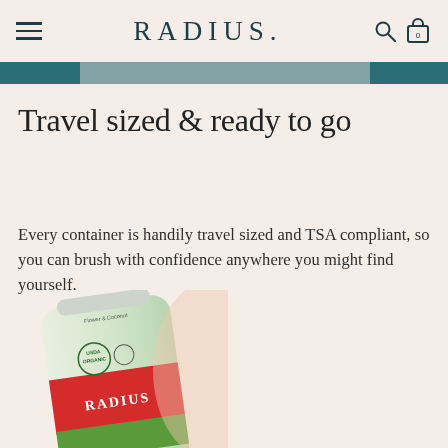RADIUS.
[Figure (photo): Partial product/lifestyle photo visible as a strip at the top, with teal banner overlay]
Travel sized & ready to go
Every container is handily travel sized and TSA compliant, so you can brush with confidence anywhere you might find yourself.
[Figure (photo): RADIUS branded toothpaste tube (white/green/red) with USDA organic seal, partially visible at bottom of page]